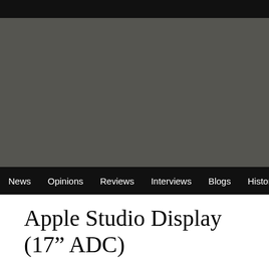[Figure (photo): Dark grey/charcoal colored rectangular image area, likely a photo of the Apple Studio Display 17-inch ADC monitor, shown against a black top bar background.]
News  Opinions  Reviews  Interviews  Blogs  History
Apple Studio Display (17” ADC)
Introduced: July 2000
Terminated: May 2001